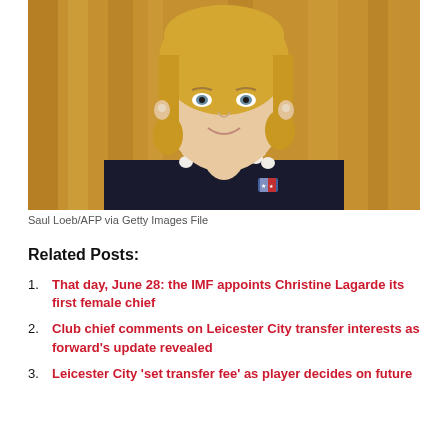[Figure (photo): A blonde woman in a dark blazer with a pearl necklace and a small flag brooch, smiling slightly, photographed against a golden/brown curtain background.]
Saul Loeb/AFP via Getty Images File
Related Posts:
That day, June 28: the IMF appoints Christine Lagarde its first female chief
Club chief comments on Leicester City transfer interests as forward's update revealed
Leicester City 'set transfer fee' as player decides on future